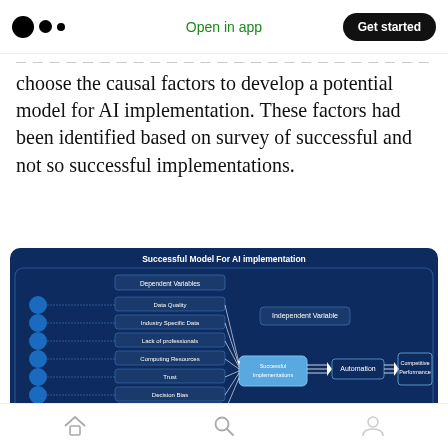Medium logo | Open in app | Get started
choose the causal factors to develop a potential model for AI implementation. These factors had been identified based on survey of successful and not so successful implementations.
[Figure (flowchart): Successful Model For AI implementation diagram showing Dependent Variables (Data Quality, Industry Specific Data, Lack of professionals, Computing Resources, Trust, Decision Bias, Collaboration Model, Data Privacy) feeding into Independent Variable and Successful Implementation, then Automation, then Competitive Performance]
Home | Search | Profile